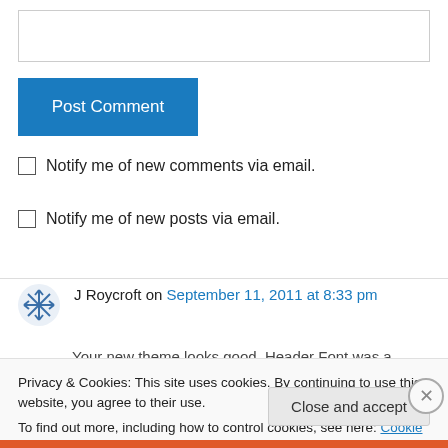[Figure (screenshot): Text input box for comment entry]
Post Comment
Notify me of new comments via email.
Notify me of new posts via email.
J Roycroft on September 11, 2011 at 8:33 pm
Your new theme looks good. Header Font was a
Privacy & Cookies: This site uses cookies. By continuing to use this website, you agree to their use.
To find out more, including how to control cookies, see here: Cookie Policy
Close and accept